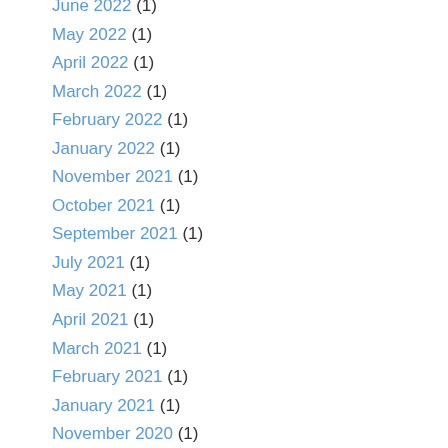June 2022 (1)
May 2022 (1)
April 2022 (1)
March 2022 (1)
February 2022 (1)
January 2022 (1)
November 2021 (1)
October 2021 (1)
September 2021 (1)
July 2021 (1)
May 2021 (1)
April 2021 (1)
March 2021 (1)
February 2021 (1)
January 2021 (1)
November 2020 (1)
October 2020 (1)
September 2020 (1)